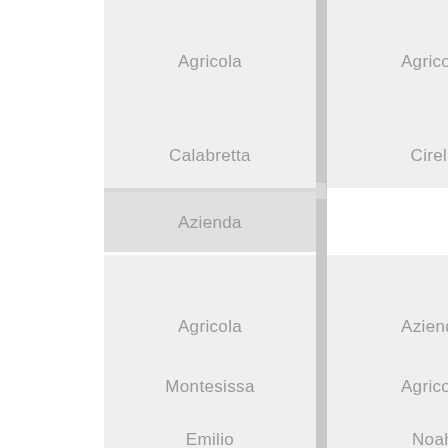| Agricola | Agricola |
| Calabretta | Cirelli |
| Azienda |  |
| Agricola | Azienda |
| Montesissa | Agricola |
| Emilio | Noah |